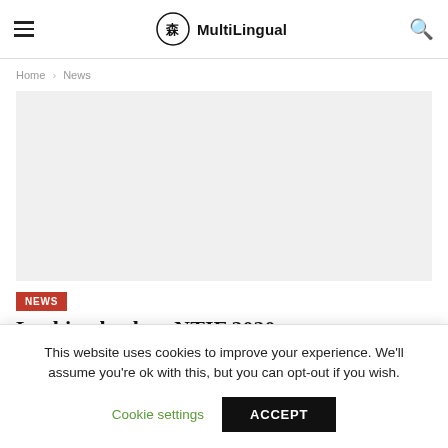MultiLingual
Home › News
[Figure (other): Gray placeholder image area for article featured image]
NEWS
Looking back at NTIF 2020
This website uses cookies to improve your experience. We'll assume you're ok with this, but you can opt-out if you wish.
Cookie settings   ACCEPT